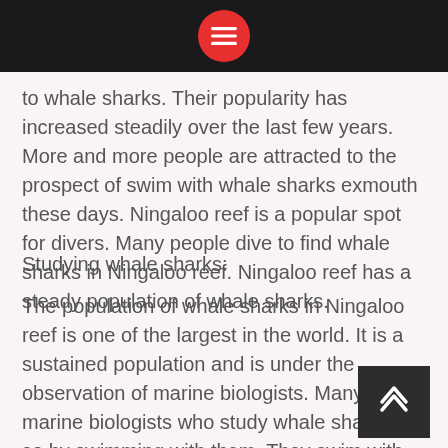[Menu icon header bar]
to whale sharks. Their popularity has increased steadily over the last few years. More and more people are attracted to the prospect of swim with whale sharks exmouth these days. Ningaloo reef is a popular spot for divers. Many people dive to find whale sharks in Ningaloo reef. Ningaloo reef has a steady population of whale sharks.
Studying whale sharks:
The population of whale sharks in Ningaloo reef is one of the largest in the world. It is a sustained population and is under the observation of marine biologists. Many marine biologists who study whale sharks do so by swimming with them. They swim with whale sharks in the open sea. The average lifespan of a whale shark is sixty to